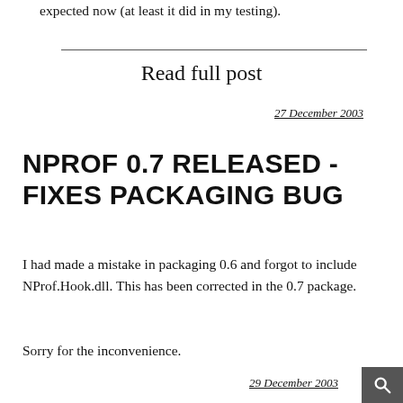expected now (at least it did in my testing).
Read full post
27 December 2003
NPROF 0.7 RELEASED - FIXES PACKAGING BUG
I had made a mistake in packaging 0.6 and forgot to include NProf.Hook.dll. This has been corrected in the 0.7 package.
Sorry for the inconvenience.
29 December 2003